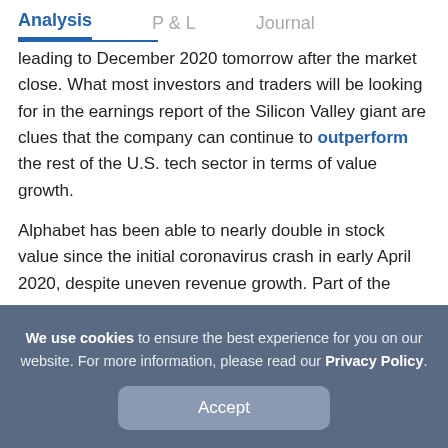Analysis | P & L | Journal
leading to December 2020 tomorrow after the market close. What most investors and traders will be looking for in the earnings report of the Silicon Valley giant are clues that the company can continue to outperform the rest of the U.S. tech sector in terms of value growth.
Alphabet has been able to nearly double in stock value since the initial coronavirus crash in early April 2020, despite uneven revenue growth. Part of the
We use cookies to ensure the best experience for you on our website. For more information, please read our Privacy Policy.
Accept